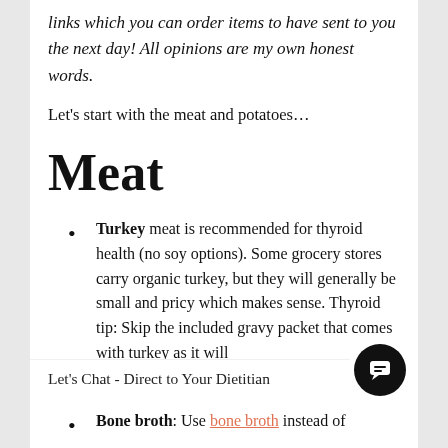links which you can order items to have sent to you the next day! All opinions are my own honest words.
Let's start with the meat and potatoes…
Meat
Turkey meat is recommended for thyroid health (no soy options). Some grocery stores carry organic turkey, but they will generally be small and pricy which makes sense. Thyroid tip: Skip the included gravy packet that comes with turkey as it will
Let's Chat - Direct to Your Dietitian
Bone broth: Use bone broth instead of